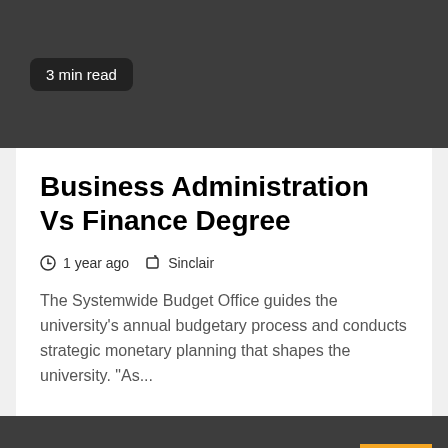3 min read
Business Administration Vs Finance Degree
1 year ago   Sinclair
The Systemwide Budget Office guides the university's annual budgetary process and conducts strategic monetary planning that shapes the university. "As...